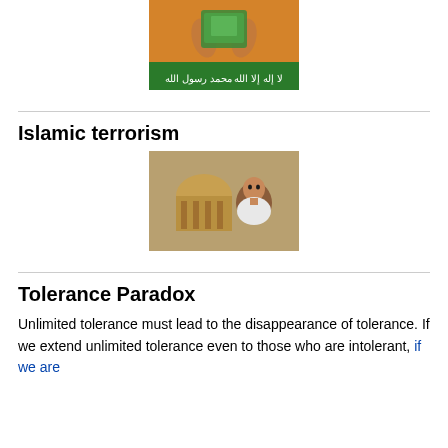[Figure (illustration): Religious illustration with Arabic calligraphy in green banner reading 'La ilaha illallah Muhammadur Rasulullah', hands raised, colorful background]
Islamic terrorism
[Figure (photo): Photo of a man in white shirt standing in front of an ornate building with dome (Supreme Court of India), outdoors]
Tolerance Paradox
Unlimited tolerance must lead to the disappearance of tolerance. If we extend unlimited tolerance even to those who are intolerant, if we are